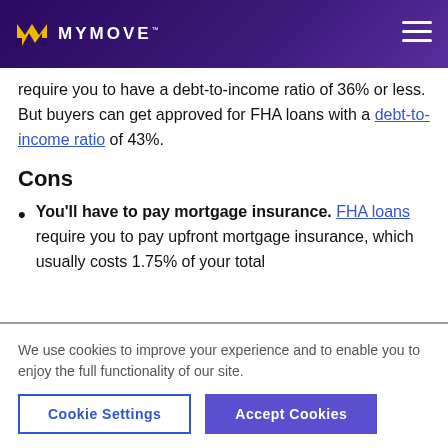MYMOVE™
require you to have a debt-to-income ratio of 36% or less. But buyers can get approved for FHA loans with a debt-to-income ratio of 43%.
Cons
You'll have to pay mortgage insurance. FHA loans require you to pay upfront mortgage insurance, which usually costs 1.75% of your total
We use cookies to improve your experience and to enable you to enjoy the full functionality of our site.